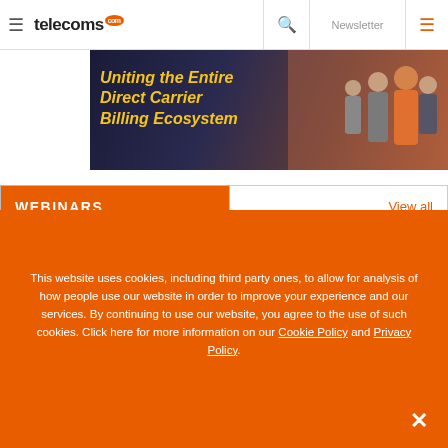telecoms.com — Newsletter
[Figure (photo): Banner image showing 'Uniting the Entire Direct Carrier Billing Ecosystem' text in yellow italic on dark background with people at an event on the right side]
WEBINARS
View all
This website uses cookies, including third party ones, to allow for analysis of how people use our website in order to improve your experience and our services. By continuing to use our website, you agree to the use of such cookies. Click here for more information on our Cookie Policy and Privacy Policy.